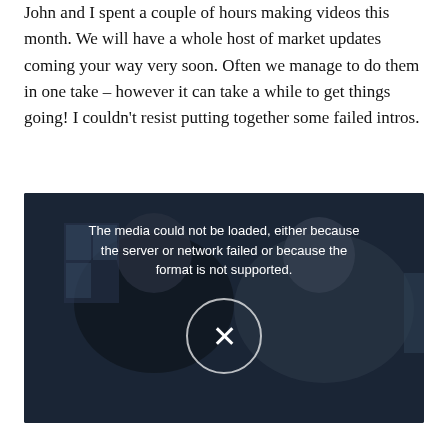John and I spent a couple of hours making videos this month. We will have a whole host of market updates coming your way very soon. Often we manage to do them in one take – however it can take a while to get things going! I couldn't resist putting together some failed intros.
[Figure (screenshot): Video player showing two men sitting, with a media error overlay: 'The media could not be loaded, either because the server or network failed or because the format is not supported.' with an X button circle.]